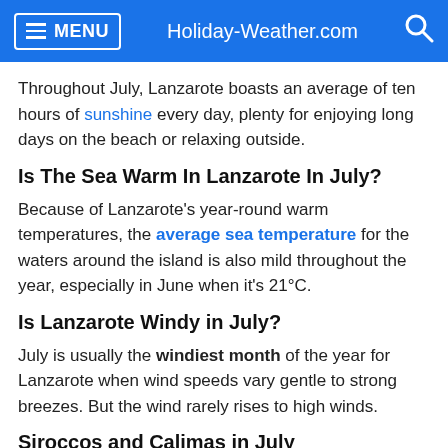MENU  Holiday-Weather.com
Throughout July, Lanzarote boasts an average of ten hours of sunshine every day, plenty for enjoying long days on the beach or relaxing outside.
Is The Sea Warm In Lanzarote In July?
Because of Lanzarote's year-round warm temperatures, the average sea temperature for the waters around the island is also mild throughout the year, especially in June when it's 21°C.
Is Lanzarote Windy in July?
July is usually the windiest month of the year for Lanzarote when wind speeds vary gentle to strong breezes. But the wind rarely rises to high winds.
Siroccos and Calimas in July